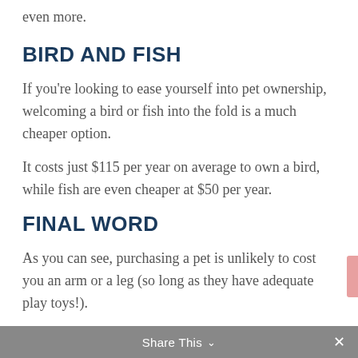even more.
BIRD AND FISH
If you're looking to ease yourself into pet ownership, welcoming a bird or fish into the fold is a much cheaper option.
It costs just $115 per year on average to own a bird, while fish are even cheaper at $50 per year.
FINAL WORD
As you can see, purchasing a pet is unlikely to cost you an arm or a leg (so long as they have adequate play toys!).
However, you can minimise the impact it has
Share This ∨  ✕